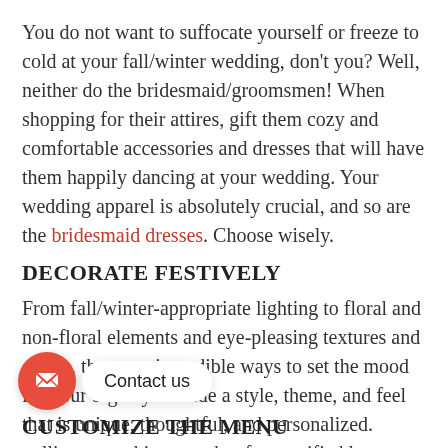You do not want to suffocate yourself or freeze to cold at your fall/winter wedding, don't you? Well, neither do the bridesmaid/groomsmen! When shopping for their attires, gift them cozy and comfortable accessories and dresses that will have them happily dancing at your wedding. Your wedding apparel is absolutely crucial, and so are the bridesmaid dresses. Choose wisely.
DECORATE FESTIVELY
From fall/winter-appropriate lighting to floral and non-floral elements and eye-pleasing textures and colors, there are incredible ways to set the mood for your big day. Decide a style, theme, and feel that is unique, thoughtful, and personalized. pulling everything together for a unified lo...
CUSTOMIZE THE MENU